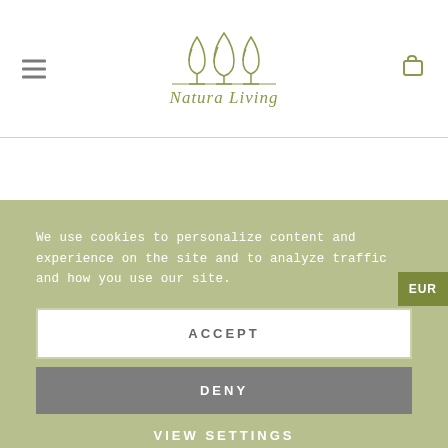Natura Living – navigation header with logo, hamburger menu, and cart icon
[Figure (logo): Natura Living logo with three stylized leaf/tree icons above the text 'Natura Living' in italic green script]
We use cookies to personalize content and experience on the site and to analyze traffic and how you use our site.
ACCEPT
DENY
VIEW SETTINGS
Cookie policy